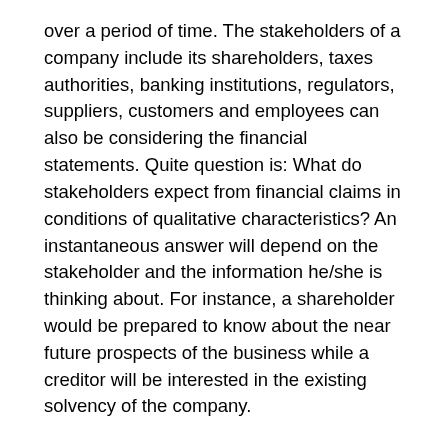over a period of time. The stakeholders of a company include its shareholders, taxes authorities, banking institutions, regulators, suppliers, customers and employees can also be considering the financial statements. Quite question is: What do stakeholders expect from financial claims in conditions of qualitative characteristics? An instantaneous answer will depend on the stakeholder and the information he/she is thinking about. For instance, a shareholder would be prepared to know about the near future prospects of the business while a creditor will be interested in the existing solvency of the company.
Despite these variants in goals, two characteristics everyone desires from the information in financial statements are accuracy and reliability. Therefore, all actions need to be taken to ensure that the financial assertions are exact and reliable.